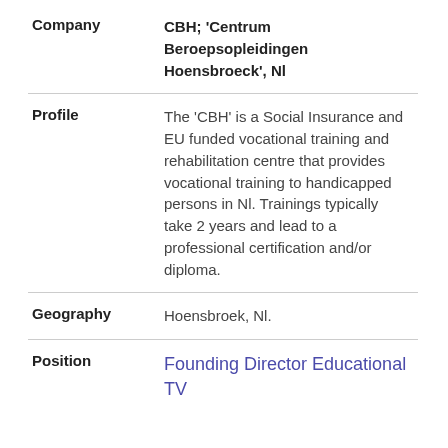| Field | Value |
| --- | --- |
| Company | CBH; ‘Centrum Beroepsopleidingen Hoensbroeck’, Nl |
| Profile | The ‘CBH’ is a Social Insurance and EU funded vocational training and rehabilitation centre that provides vocational training to handicapped persons in Nl. Trainings typically take 2 years and lead to a professional certification and/or diploma. |
| Geography | Hoensbroek, Nl. |
| Position | Founding Director Educational TV |